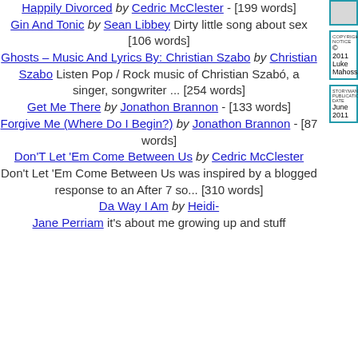Happily Divorced by Cedric McClester - [199 words]
Gin And Tonic by Sean Libbey Dirty little song about sex [106 words]
Ghosts – Music And Lyrics By: Christian Szabo by Christian Szabo Listen Pop / Rock music of Christian Szabó, a singer, songwriter ... [254 words]
Get Me There by Jonathon Brannon - [133 words]
Forgive Me (Where Do I Begin?) by Jonathon Brannon - [87 words]
Don'T Let 'Em Come Between Us by Cedric McClester Don't Let 'Em Come Between Us was inspired by a blogged response to an After 7 so... [310 words]
Da Way I Am by Heidi-Jane Perriam it's about me growing up and stuff
COPYRIGHT NOTICE
© 2011 Luke Mahossal
STORYMANIA PUBLICATION DATE
June 2011